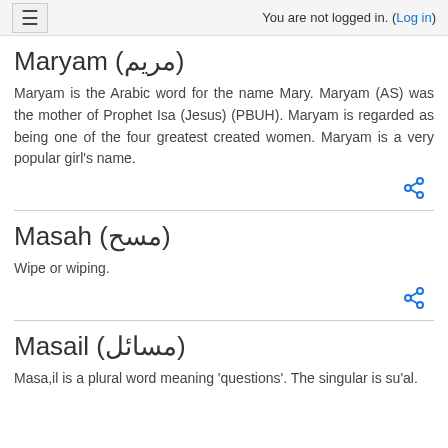≡  You are not logged in. (Log in)
Maryam (مريم)
Maryam is the Arabic word for the name Mary. Maryam (AS) was the mother of Prophet Isa (Jesus) (PBUH). Maryam is regarded as being one of the four greatest created women. Maryam is a very popular girl's name.
Masah (مسح)
Wipe or wiping.
Masail (مسائل)
Masa,il is a plural word meaning 'questions'. The singular is su'al.